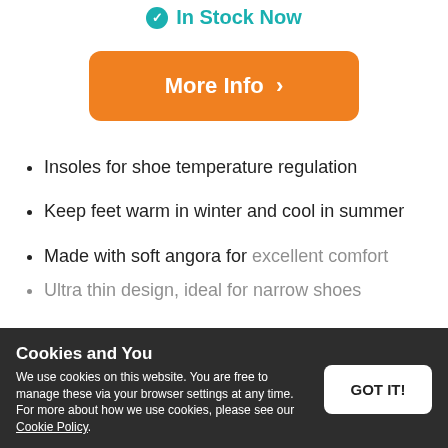[Figure (other): Teal checkmark circle icon with 'In Stock Now' text in teal, partially visible at top]
[Figure (other): Orange rounded rectangle button with white bold text 'More Info' and a right arrow chevron]
Insoles for shoe temperature regulation
Keep feet warm in winter and cool in summer
Made with soft angora for excellent comfort
Ultra thin design, ideal for narrow shoes
Cookies and You
We use cookies on this website. You are free to manage these via your browser settings at any time. For more about how we use cookies, please see our Cookie Policy.